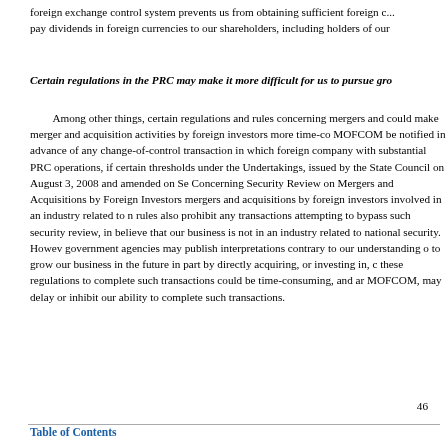foreign exchange control system prevents us from obtaining sufficient foreign currency to pay dividends in foreign currencies to our shareholders, including holders of our
Certain regulations in the PRC may make it more difficult for us to pursue gro
Among other things, certain regulations and rules concerning mergers and could make merger and acquisition activities by foreign investors more time-consuming. MOFCOM be notified in advance of any change-of-control transaction in which foreign company with substantial PRC operations, if certain thresholds under the Undertakings, issued by the State Council on August 3, 2008 and amended on Se Concerning Security Review on Mergers and Acquisitions by Foreign Investors mergers and acquisitions by foreign investors involved in an industry related to rules also prohibit any transactions attempting to bypass such security review, in believe that our business is not in an industry related to national security. Howev government agencies may publish interpretations contrary to our understanding to grow our business in the future in part by directly acquiring, or investing in, c these regulations to complete such transactions could be time-consuming, and ar MOFCOM, may delay or inhibit our ability to complete such transactions.
46
Table of Contents
Failure to comply with PRC regulations regarding the registration requiremer subject the PRC plan participants or us to fines and other legal or administrat
In December 2006, the People's Bank of China, or PBOC, promulgated th